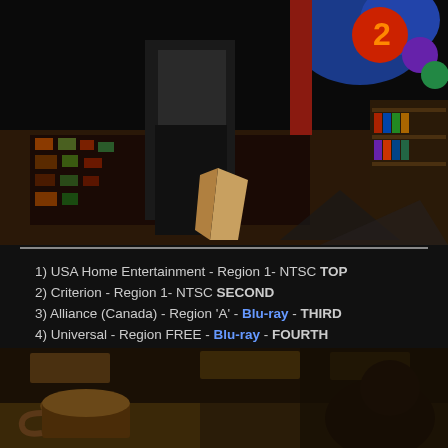[Figure (photo): Dark scene showing a person standing in what appears to be a video/entertainment store. Blue inflatable or displayed items visible in background upper right. Colorful floor pattern visible. A paper bag or box near the person's feet.]
1) USA Home Entertainment - Region 1- NTSC TOP
2) Criterion - Region 1- NTSC SECOND
3) Alliance (Canada) - Region 'A' - Blu-ray - THIRD
4) Universal - Region FREE - Blu-ray - FOURTH
5) Criterion - Region 'A' - Blu-ray - BOTTOM
[Figure (photo): Dark sepia-toned scene showing partial view of a table or surface with objects, low lighting, second person partially visible on the right.]